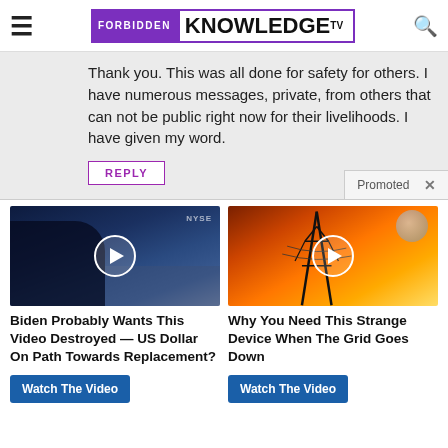Forbidden Knowledge TV
Thank you. This was all done for safety for others. I have numerous messages, private, from others that can not be public right now for their livelihoods. I have given my word.
REPLY
Promoted X
[Figure (screenshot): Video thumbnail showing two people on a TV studio set with NYSE chyron, with a play button overlay]
Biden Probably Wants This Video Destroyed — US Dollar On Path Towards Replacement?
Watch The Video
[Figure (screenshot): Video thumbnail showing an electrical transmission tower against an orange fiery sky with a planet visible, with a play button overlay]
Why You Need This Strange Device When The Grid Goes Down
Watch The Video